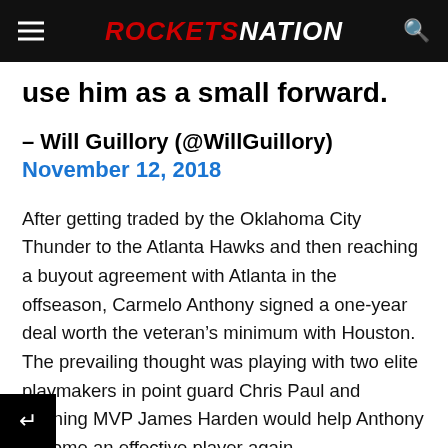ROCKETS NATION
use him as a small forward.
— Will Guillory (@WillGuillory)
November 12, 2018
After getting traded by the Oklahoma City Thunder to the Atlanta Hawks and then reaching a buyout agreement with Atlanta in the offseason, Carmelo Anthony signed a one-year deal worth the veteran's minimum with Houston. The prevailing thought was playing with two elite playmakers in point guard Chris Paul and reigning MVP James Harden would help Anthony become an effective player again.
That hasn't been the case at all, though, as Carmelo Anthony has been a negative to the team when he's been on